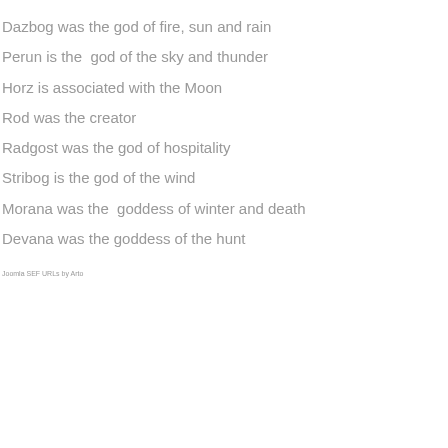Dazbog was the god of fire, sun and rain
Perun is the  god of the sky and thunder
Horz is associated with the Moon
Rod was the creator
Radgost was the god of hospitality
Stribog is the god of the wind
Morana was the  goddess of winter and death
Devana was the goddess of the hunt
Joomla SEF URLs by Arto